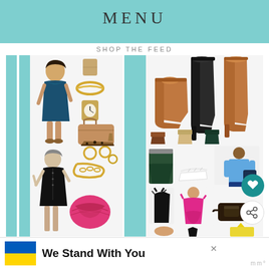MENU
SHOP THE FEED
[Figure (photo): Shopping feed grid showing: top-left: woman in teal wrap dress with gold jewelry accessories, handbag, leopard heels; top-right: collection of brown and black tall boots; bottom-left: woman in black shirtdress with gold chain necklace and pink knotted bag; bottom-right: athletic and casual clothing items including green skirt, pink dress, blue top, sneakers, belt bag]
We Stand With You
[Figure (illustration): Ukrainian flag (blue and yellow horizontal stripes)]